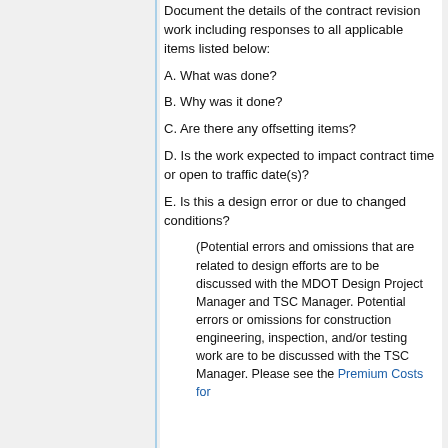Document the details of the contract revision work including responses to all applicable items listed below:
A. What was done?
B. Why was it done?
C. Are there any offsetting items?
D. Is the work expected to impact contract time or open to traffic date(s)?
E. Is this a design error or due to changed conditions?
(Potential errors and omissions that are related to design efforts are to be discussed with the MDOT Design Project Manager and TSC Manager. Potential errors or omissions for construction engineering, inspection, and/or testing work are to be discussed with the TSC Manager. Please see the Premium Costs for